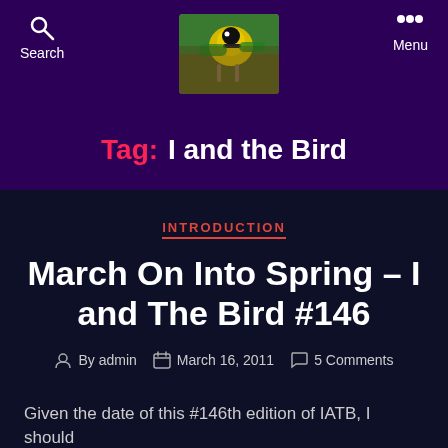Search | Menu
[Figure (photo): A yellow and black bird perched on a branch, colorful nature photo used as site logo/header image]
Tag: I and the Bird
INTRODUCTION
March On Into Spring – I and The Bird #146
By admin   March 16, 2011   5 Comments
Given the date of this #146th edition of IATB, I should